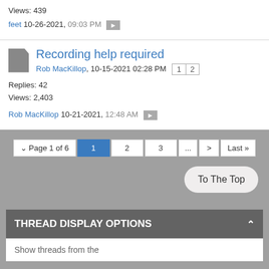Views: 439
feet 10-26-2021, 09:03 PM ▶
Recording help required
Rob MacKillop, 10-15-2021 02:28 PM [1] [2]
Replies: 42
Views: 2,403
Rob MacKillop 10-21-2021, 12:48 AM ▶
▾ Page 1 of 6  1  2  3  ...  >  Last ≫
To The Top
THREAD DISPLAY OPTIONS
Show threads from the